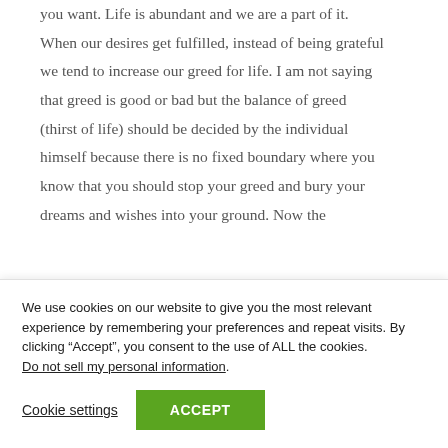you want. Life is abundant and we are a part of it. When our desires get fulfilled, instead of being grateful we tend to increase our greed for life. I am not saying that greed is good or bad but the balance of greed (thirst of life) should be decided by the individual himself because there is no fixed boundary where you know that you should stop your greed and bury your dreams and wishes into your ground. Now the
We use cookies on our website to give you the most relevant experience by remembering your preferences and repeat visits. By clicking “Accept”, you consent to the use of ALL the cookies. Do not sell my personal information.
Cookie settings
ACCEPT